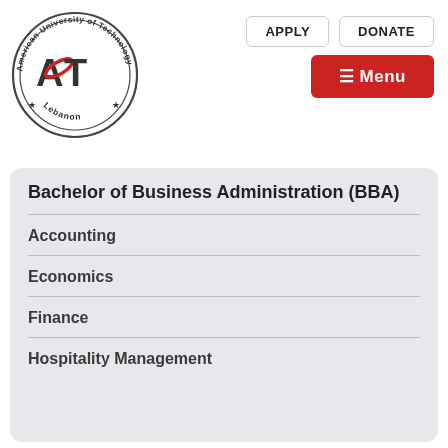[Figure (logo): American University of Technology (AUT) circular seal logo with stars and 'Lebanon' text, featuring red and black AUT letters]
APPLY   DONATE   ☰ Menu
Bachelor of Business Administration (BBA)
Accounting
Economics
Finance
Hospitality Management